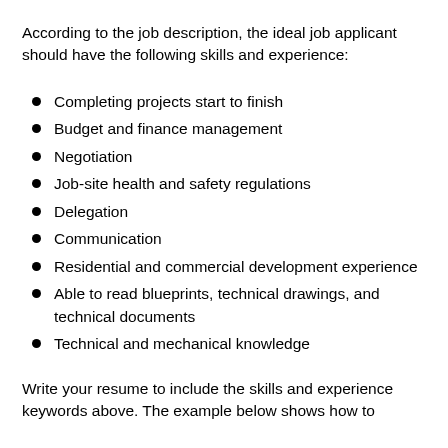According to the job description, the ideal job applicant should have the following skills and experience:
Completing projects start to finish
Budget and finance management
Negotiation
Job-site health and safety regulations
Delegation
Communication
Residential and commercial development experience
Able to read blueprints, technical drawings, and technical documents
Technical and mechanical knowledge
Write your resume to include the skills and experience keywords above. The example below shows how to